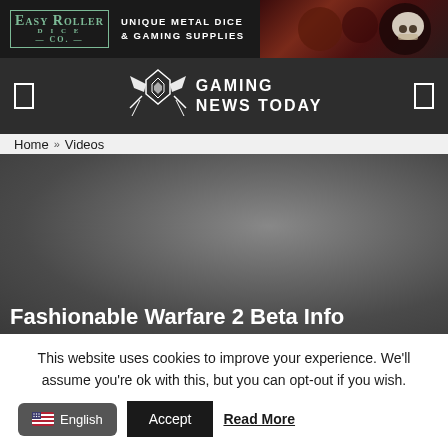[Figure (screenshot): Easy Roller Dice Co. advertisement banner with logo and tagline 'Unique Metal Dice & Gaming Supplies', dark background with dice product images on the right]
[Figure (logo): Gaming News Today website navigation bar with ROG-style winged logo and site name 'Gaming News Today', dark background with navigation icons on left and right]
Home » Videos
[Figure (screenshot): Dark grey gradient video/content area, partially showing a title text at the bottom reading 'Fashionable Warfare 2 Beta Info']
This website uses cookies to improve your experience. We'll assume you're ok with this, but you can opt-out if you wish.
English  Accept  Read More